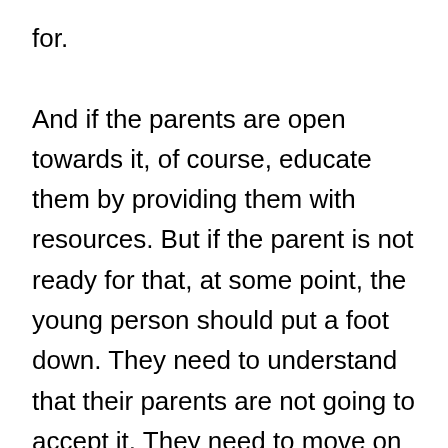for.

And if the parents are open towards it, of course, educate them by providing them with resources. But if the parent is not ready for that, at some point, the young person should put a foot down. They need to understand that their parents are not going to accept it. They need to move on and live their life for what it is. I am saying this because I know many people who have been trying to get their parents' approval. They haven't gotten it, and they will probably never get it. And to depend on it just means you are doing yourself a disservice. You are waiting for something that is probably never going